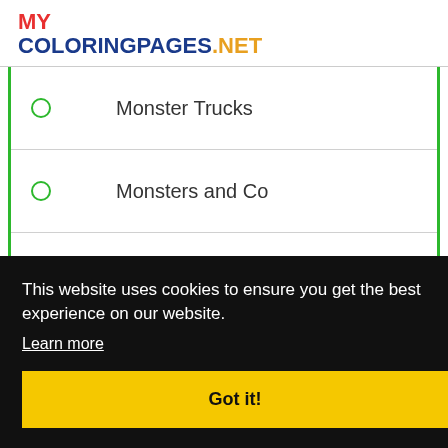MY COLORINGPAGES.NET
Monster Trucks
Monsters and Co
Monsters University
Monsters vs Aliens
This website uses cookies to ensure you get the best experience on our website. Learn more
Got it!